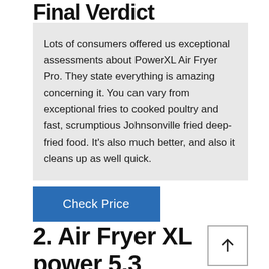Final Verdict
Lots of consumers offered us exceptional assessments about PowerXL Air Fryer Pro. They state everything is amazing concerning it. You can vary from exceptional fries to cooked poultry and fast, scrumptious Johnsonville fried deep-fried food. It's also much better, and also it cleans up as well quick.
Check Price
2. Air Fryer XL power 5.3 quarter